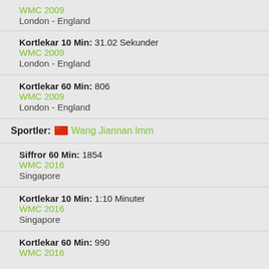WMC 2009
London - England
Kortlekar 10 Min: 31.02 Sekunder
WMC 2009
London - England
Kortlekar 60 Min: 806
WMC 2009
London - England
Sportler: Wang Jiannan Imm
Siffror 60 Min: 1854
WMC 2016
Singapore
Kortlekar 10 Min: 1:10 Minuter
WMC 2016
Singapore
Kortlekar 60 Min: 990
WMC 2016